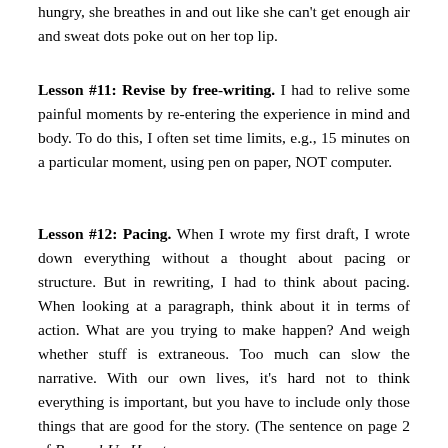hungry, she breathes in and out like she can't get enough air and sweat dots poke out on her top lip.
Lesson #11: Revise by free-writing. I had to relive some painful moments by re-entering the experience in mind and body. To do this, I often set time limits, e.g., 15 minutes on a particular moment, using pen on paper, NOT computer.
Lesson #12: Pacing. When I wrote my first draft, I wrote down everything without a thought about pacing or structure. But in rewriting, I had to think about pacing. When looking at a paragraph, think about it in terms of action. What are you trying to make happen? And weigh whether stuff is extraneous. Too much can slow the narrative. With our own lives, it's hard not to think everything is important, but you have to include only those things that are good for the story. (The sentence on page 2 of Banged-Up Heart,